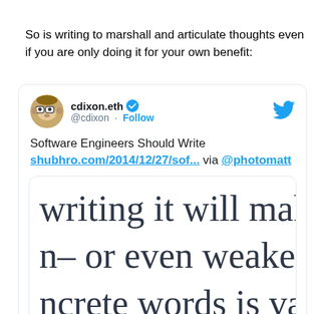So is writing to marshall and articulate thoughts even if you are only doing it for your own benefit:
[Figure (screenshot): Embedded tweet from @cdixon (cdixon.eth) with verified badge and Follow link. Tweet text: 'Software Engineers Should Write shubhro.com/2014/12/27/sof... via @photomatt'. Below is a cropped preview showing large text: 'writing it will make an', 'n– or even weaken– y', 'ncrete words is valuab']